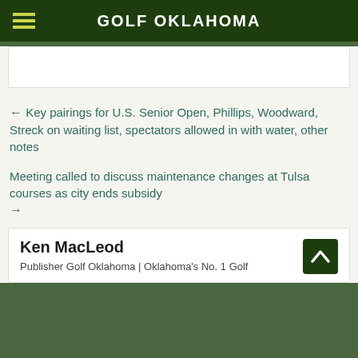GOLF OKLAHOMA
← Key pairings for U.S. Senior Open, Phillips, Woodward, Streck on waiting list, spectators allowed in with water, other notes
Meeting called to discuss maintenance changes at Tulsa courses as city ends subsidy →
Ken MacLeod
Publisher Golf Oklahoma | Oklahoma's No. 1 Golf